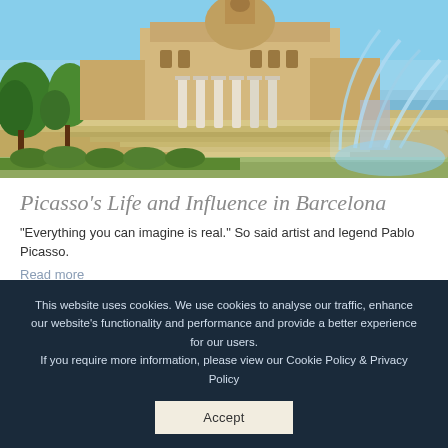[Figure (photo): Outdoor photo of Barcelona's Palau Nacional (National Palace) with large classical columns in the foreground, cascading stairs, lush green trees, and a large fountain with water jets in the right foreground, blue sky background.]
Picasso's Life and Influence in Barcelona
"Everything you can imagine is real." So said artist and legend Pablo Picasso.
Read more
[Figure (photo): Partial view of an outdoor urban scene with trees and structures, partially obscured by cookie consent banner.]
This website uses cookies. We use cookies to analyse our traffic, enhance our website's functionality and performance and provide a better experience for our users.
If you require more information, please view our Cookie Policy & Privacy Policy
Accept